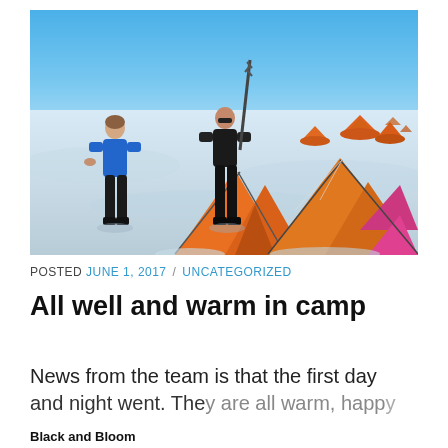[Figure (photo): Two people standing on a snowy landscape next to bright orange camping tents. One person on left wears blue jacket and black pants; the other on right wears black jacket and holds a pole. Multiple orange tent domes are visible in the background under a clear blue sky.]
POSTED JUNE 1, 2017 / UNCATEGORIZED
All well and warm in camp
News from the team is that the first day and night went. They are all warm, happy...
Black and Bloom